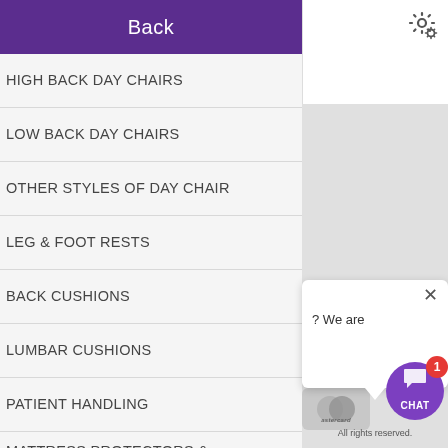Back
HIGH BACK DAY CHAIRS
LOW BACK DAY CHAIRS
OTHER STYLES OF DAY CHAIR
LEG & FOOT RESTS
BACK CUSHIONS
LUMBAR CUSHIONS
PATIENT HANDLING
MATTRESS PROTECTORS & SHEETS
? We are
All rights reserved.